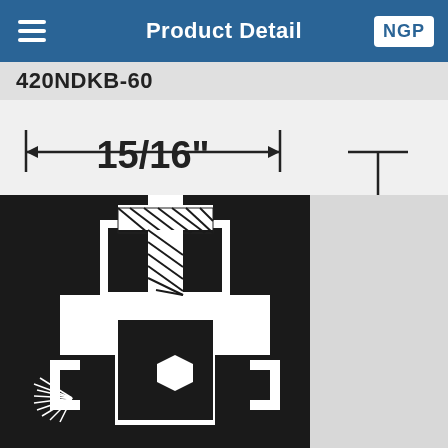Product Detail
420NDKB-60
[Figure (engineering-diagram): Cross-section technical drawing of product 420NDKB-60 showing a door seal/weatherstrip profile. The diagram shows a width dimension of 15/16 inches indicated by a horizontal arrow spanning the top of the black cross-section silhouette. A vertical T-shaped dimension line appears on the right side. The cross-section shows a mounting bracket with a diagonal-hatched insert at top, a white outline profile with a stepped base, a dark rectangular body with a hexagonal bolt/fastener, and C-shaped retaining clips at the bottom sides. Radiating lines on the lower left suggest a sweep or brush element.]